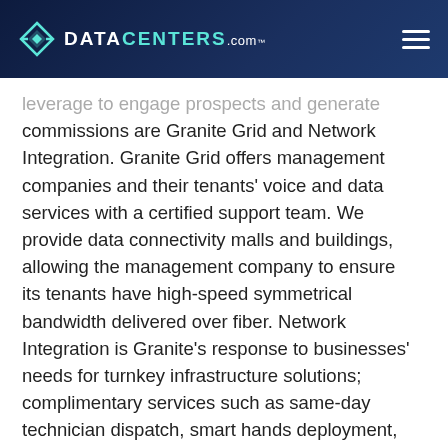DATACENTERS.com
leverage to engage prospects and generate commissions are Granite Grid and Network Integration. Granite Grid offers management companies and their tenants' voice and data services with a certified support team. We provide data connectivity malls and buildings, allowing the management company to ensure its tenants have high-speed symmetrical bandwidth delivered over fiber. Network Integration is Granite's response to businesses' needs for turnkey infrastructure solutions; complimentary services such as same-day technician dispatch, smart hands deployment, equipment management and physical installation, along with design and build capabilities including green build, WiFi design and